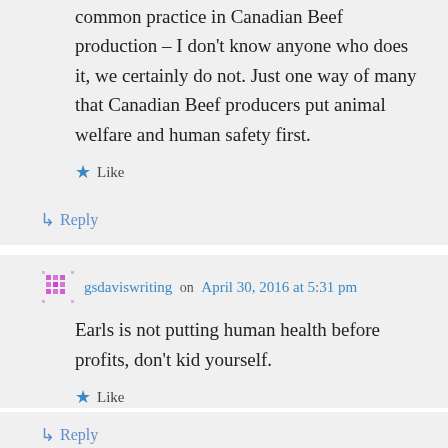common practice in Canadian Beef production – I don't know anyone who does it, we certainly do not. Just one way of many that Canadian Beef producers put animal welfare and human safety first.
Like
Reply
gsdaviswriting on April 30, 2016 at 5:31 pm
Earls is not putting human health before profits, don't kid yourself.
Like
Reply